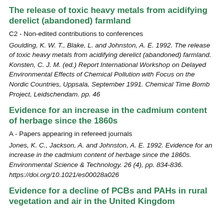The release of toxic heavy metals from acidifying derelict (abandoned) farmland
C2 - Non-edited contributions to conferences
Goulding, K. W. T., Blake, L. and Johnston, A. E. 1992. The release of toxic heavy metals from acidifying derelict (abandoned) farmland. Konsten, C. J. M. (ed.) Report International Workshop on Delayed Environmental Effects of Chemical Pollution with Focus on the Nordic Countries, Uppsala, September 1991. Chemical Time Bomb Project, Leidschendam. pp. 46
Evidence for an increase in the cadmium content of herbage since the 1860s
A - Papers appearing in refereed journals
Jones, K. C., Jackson, A. and Johnston, A. E. 1992. Evidence for an increase in the cadmium content of herbage since the 1860s. Environmental Science & Technology. 26 (4), pp. 834-836. https://doi.org/10.1021/es00028a026
Evidence for a decline of PCBs and PAHs in rural vegetation and air in the United Kingdom